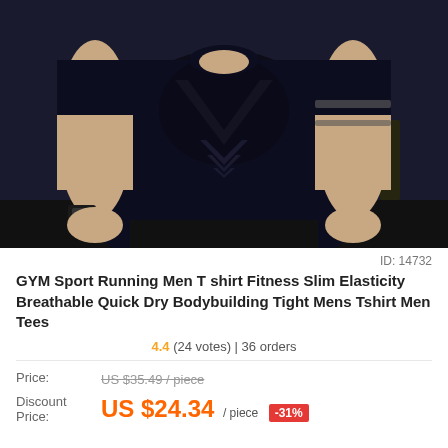[Figure (photo): A muscular man wearing a dark navy/black tight-fitting GYM sport compression t-shirt in a gym setting. The shirt has a distinctive patterned chest design. The man has tattoos on his right arm.]
ID: 14732
GYM Sport Running Men T shirt Fitness Slim Elasticity Breathable Quick Dry Bodybuilding Tight Mens Tshirt Men Tees
4.4 (24 votes) | 36 orders
Price: US $35.49 / piece
Discount Price: US $24.34 / piece -31%